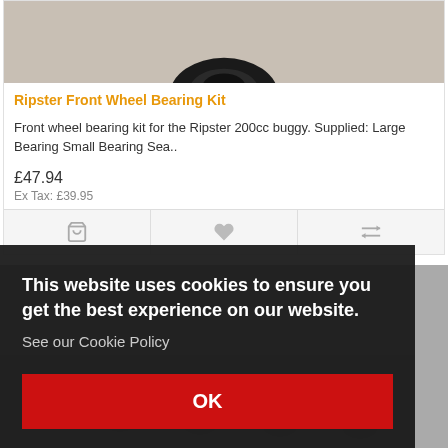[Figure (photo): Top portion of a bearing component, black/dark, shown against a light grey/beige background]
Ripster Front Wheel Bearing Kit
Front wheel bearing kit for the Ripster 200cc buggy. Supplied: Large Bearing Small Bearing Sea..
£47.94
Ex Tax: £39.95
[Figure (photo): Cookie consent banner overlay on dark background, with OK button. Below is a partial view of a chain/sprocket product image.]
This website uses cookies to ensure you get the best experience on our website.
See our Cookie Policy
OK